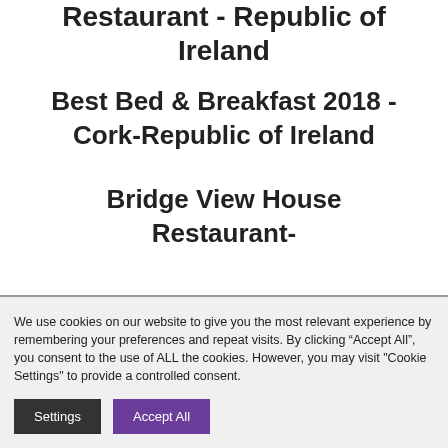Restaurant - Republic of Ireland
Best Bed & Breakfast 2018 - Cork-Republic of Ireland
Bridge View House Restaurant-
We use cookies on our website to give you the most relevant experience by remembering your preferences and repeat visits. By clicking “Accept All”, you consent to the use of ALL the cookies. However, you may visit "Cookie Settings" to provide a controlled consent.
Settings | Accept All